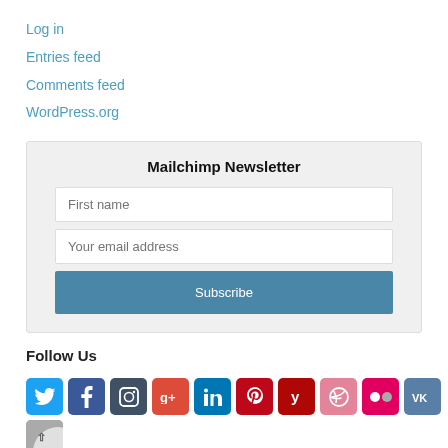Log in
Entries feed
Comments feed
WordPress.org
Mailchimp Newsletter
First name
Your email address
Subscribe
Follow Us
[Figure (other): Social media icon buttons: Twitter (blue), Facebook (dark blue), Instagram (dark gray), Google+ (orange-red), LinkedIn (dark blue), Pinterest (red), Yelp (dark red), Dribbble (pink), Flickr (magenta), VK (blue-gray), and a partial icon. Below: YouTube (red), and two more partial icons.]